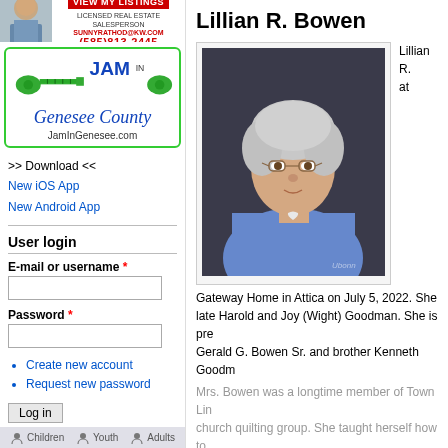[Figure (photo): Real estate agent photo advertisement with 'VIEW MY LISTINGS' button, 'LICENSED REAL ESTATE SALESPERSON', 'SUNNYRATHOD@KW.COM', '(585)813-2445']
[Figure (logo): Jam in Genesee County logo with guitar graphic, text 'JAM IN Genesee County', 'JamInGenesee.com']
>> Download << New iOS App New Android App
User login
E-mail or username *
Password *
Create new account
Request new password
Log in
[Figure (infographic): Bottom navigation bar with Children, Youth, Adults icons]
Lillian R. Bowen
[Figure (photo): Portrait photo of elderly woman with gray hair wearing glasses and a blue blouse with a heart necklace pendant]
Lillian R. at Gateway Home in Attica on July 5, 2022. She late Harold and Joy (Wight) Goodman. She is pre Gerald G. Bowen Sr. and brother Kenneth Goodm
Mrs. Bowen was a longtime member of Town Lin church quilting group. She taught herself how to an avid baker, reader that enjoyed crossword pu